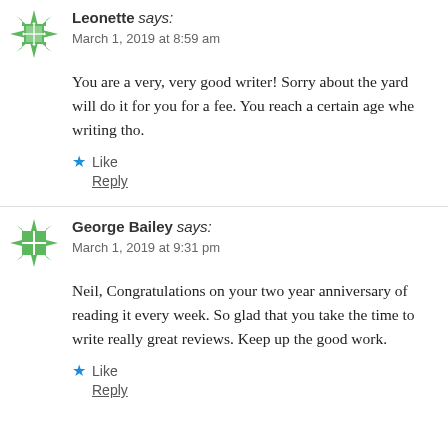Leonette says: March 1, 2019 at 8:59 am
You are a very, very good writer! Sorry about the yard will do it for you for a fee. You reach a certain age whe writing tho.
Like
Reply
George Bailey says: March 1, 2019 at 9:31 pm
Neil, Congratulations on your two year anniversary of reading it every week. So glad that you take the time to write really great reviews. Keep up the good work.
Like
Reply